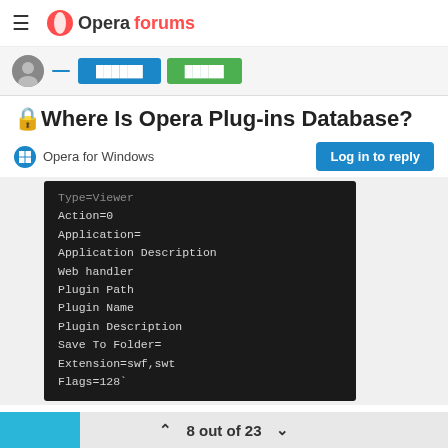Opera forums
[Figure (screenshot): User avatar and two buttons (blue and green) in a user bar]
🔒 Where Is Opera Plug-ins Database?
Opera for Windows
Log in to reply
[Figure (screenshot): Dark code block showing: Type=Viewer (partially visible), Action=0, Application=, Application Description, Web handler, Plugin Path, Plugin Name, Plugin Description, Save To Folder=, Extension=swf,swt, Flags=128`]
It's empty because i don't have npapi Flash installed here.
8 out of 23